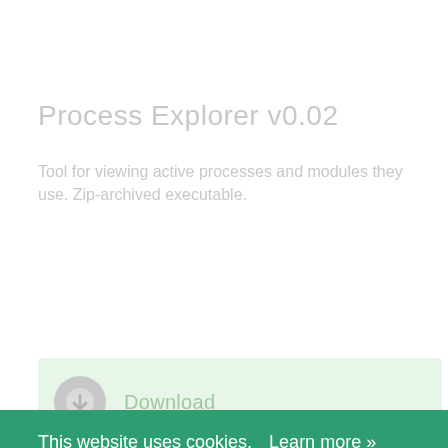Process Explorer v0.02
Tool for viewing active processes and modules they use. Zip-archived executable.
[Figure (screenshot): Download button area with icon and text 'Download' on light green background]
License
This website uses cookies.  Learn more »
This software is distributed on the terms of the GNU General Public License, Version 3 or (optionally) any later version.
Software and any related documentation are provided on
[Figure (screenshot): Yellow 'Got it!' cookie consent button]
[Figure (screenshot): Grey scroll-to-top button with upward chevron arrow]